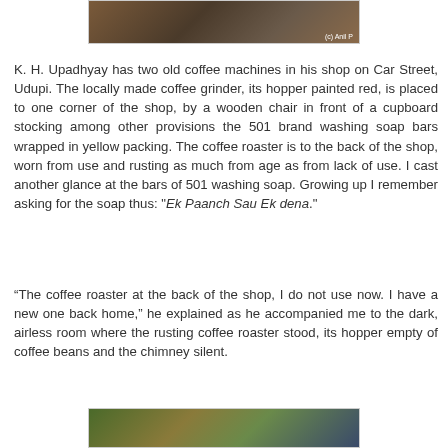[Figure (photo): Partial top photograph of a shop interior with a copyright watermark reading '(c) Anil P']
K. H. Upadhyay has two old coffee machines in his shop on Car Street, Udupi. The locally made coffee grinder, its hopper painted red, is placed to one corner of the shop, by a wooden chair in front of a cupboard stocking among other provisions the 501 brand washing soap bars wrapped in yellow packing. The coffee roaster is to the back of the shop, worn from use and rusting as much from age as from lack of use. I cast another glance at the bars of 501 washing soap. Growing up I remember asking for the soap thus: "Ek Paanch Sau Ek dena."
“The coffee roaster at the back of the shop, I do not use now. I have a new one back home,” he explained as he accompanied me to the dark, airless room where the rusting coffee roaster stood, its hopper empty of coffee beans and the chimney silent.
[Figure (photo): Partial bottom photograph showing colorful objects, likely inside a shop]